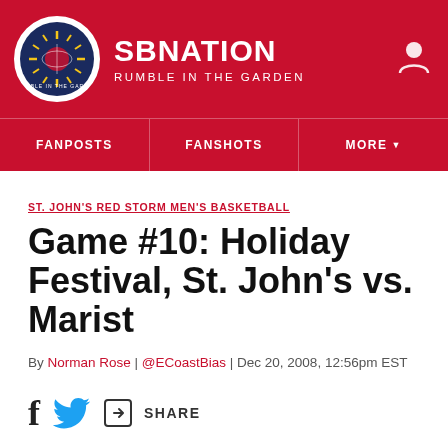SB NATION — RUMBLE IN THE GARDEN
FANPOSTS | FANSHOTS | MORE
ST. JOHN'S RED STORM MEN'S BASKETBALL
Game #10: Holiday Festival, St. John's vs. Marist
By Norman Rose | @ECoastBias | Dec 20, 2008, 12:56pm EST
SHARE